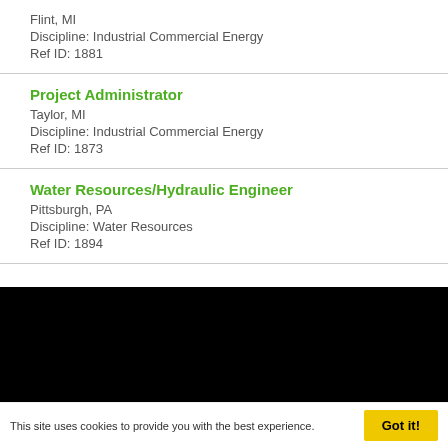Flint, MI
Discipline: Industrial Commercial Energy
Ref ID: 1881
Project Administrator
Taylor, MI
Discipline: Industrial Commercial Energy
Ref ID: 1873
Water Resources/Hydraulic Engineer
Pittsburgh, PA
Discipline: Water Resources
Ref ID: 1894
This site uses cookies to provide you with the best experience.